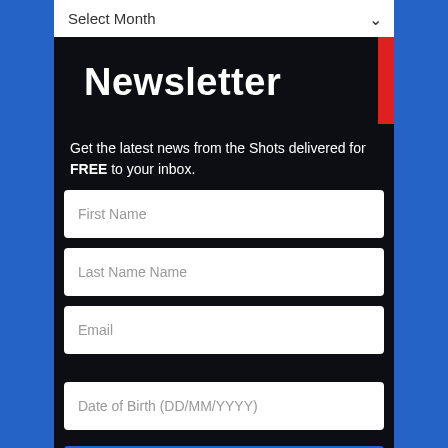[Figure (screenshot): Newsletter signup form on dark background with blue outer border. Contains a dropdown for Select Month, a large Newsletter heading with red accent bar, descriptive text, and input fields for First Name, Last Name Name, Email, Date of Birth, and a submit button.]
Select Month
Newsletter
Get the latest news from the Shots delivered for FREE to your inbox.
First Name
Last Name Name
Email
Date of Birth (DD/MM/YYYY)